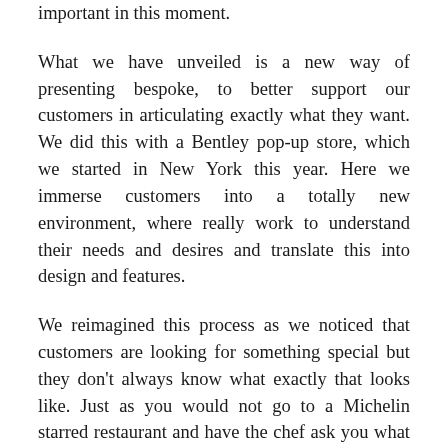important in this moment.
What we have unveiled is a new way of presenting bespoke, to better support our customers in articulating exactly what they want. We did this with a Bentley pop-up store, which we started in New York this year. Here we immerse customers into a totally new environment, where really work to understand their needs and desires and translate this into design and features.
We reimagined this process as we noticed that customers are looking for something special but they don't always know what exactly that looks like. Just as you would not go to a Michelin starred restaurant and have the chef ask you what you would like to eat. Of course you want sophistication, but there needs to be direction and translation of the vision of the client.
So now we have a process helping us to better